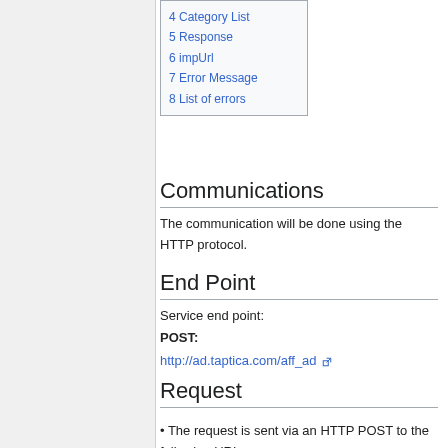4 Category List
5 Response
6 impUrl
7 Error Message
8 List of errors
Communications
The communication will be done using the HTTP protocol.
End Point
Service end point:
POST:
http://ad.taptica.com/aff_ad
Request
• The request is sent via an HTTP POST to the following URL: http://ad.taptica.com/aff_ad
• The content type of the request is